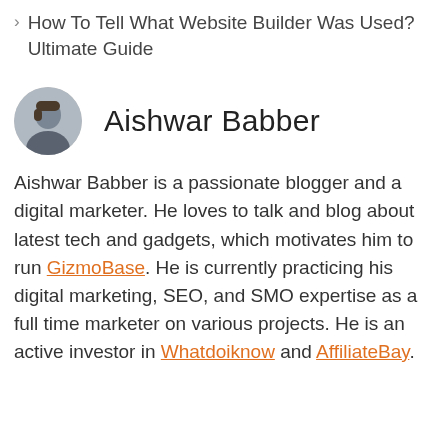How To Tell What Website Builder Was Used? Ultimate Guide
Aishwar Babber
Aishwar Babber is a passionate blogger and a digital marketer. He loves to talk and blog about latest tech and gadgets, which motivates him to run GizmoBase. He is currently practicing his digital marketing, SEO, and SMO expertise as a full time marketer on various projects. He is an active investor in Whatdoiknow and AffiliateBay.